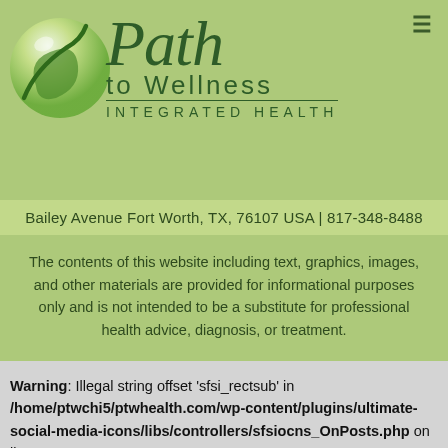[Figure (logo): Path to Wellness Integrated Health logo with green sphere and italic script text]
Bailey Avenue Fort Worth, TX, 76107 USA | 817-348-8488
The contents of this website including text, graphics, images, and other materials are provided for informational purposes only and is not intended to be a substitute for professional health advice, diagnosis, or treatment.
Warning: Illegal string offset 'sfsi_rectsub' in /home/ptwchi5/ptwhealth.com/wp-content/plugins/ultimate-social-media-icons/libs/controllers/sfsiocns_OnPosts.php on line 395